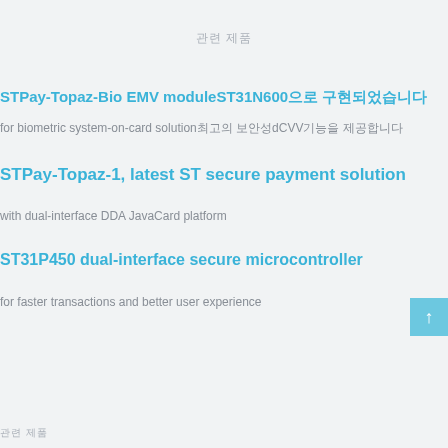관련 제품
STPay-Topaz-Bio EMV moduleST31N600으로 구현되었습니다
for biometric system-on-card solution최고의 보안성dCVV기능을 제공합니다
STPay-Topaz-1, latest ST secure payment solution
with dual-interface DDA JavaCard platform
ST31P450 dual-interface secure microcontroller
for faster transactions and better user experience
관련 제품